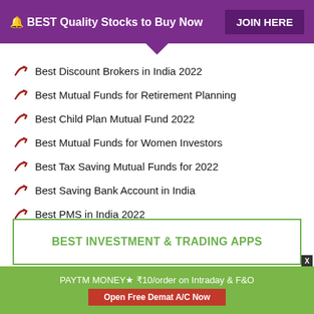🔔 BEST Quality Stocks to Buy Now  JOIN HERE
Best Discount Brokers in India 2022
Best Mutual Funds for Retirement Planning
Best Child Plan Mutual Fund 2022
Best Mutual Funds for Women Investors
Best Tax Saving Mutual Funds for 2022
Best Saving Bank Account in India
Best PMS in India 2022
Indian Stock Market Holidays 2022
BEST INVESTMENT & TRADING APPS
PAYTM MONEY★ ₹10/order on Intraday & F&O  Open Free Demat A/C Now